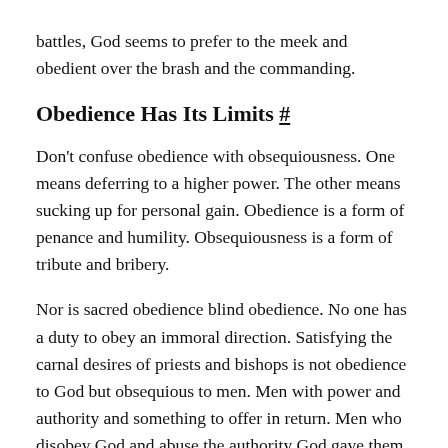battles, God seems to prefer to the meek and obedient over the brash and the commanding.
Obedience Has Its Limits #
Don't confuse obedience with obsequiousness. One means deferring to a higher power. The other means sucking up for personal gain. Obedience is a form of penance and humility. Obsequiousness is a form of tribute and bribery.
Nor is sacred obedience blind obedience. No one has a duty to obey an immoral direction. Satisfying the carnal desires of priests and bishops is not obedience to God but obsequious to men. Men with power and authority and something to offer in return. Men who disobey God and abuse the authority God gave them.